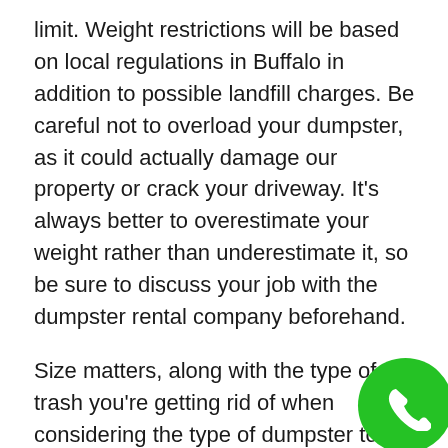limit. Weight restrictions will be based on local regulations in Buffalo in addition to possible landfill charges. Be careful not to overload your dumpster, as it could actually damage our property or crack your driveway. It's always better to overestimate your weight rather than underestimate it, so be sure to discuss your job with the dumpster rental company beforehand.
Size matters, along with the type of trash you're getting rid of when considering the type of dumpster to go with. If you're just getting rid of big items, such as furniture or appliances, then it may be more cost effective to simply contact a junk removal service. If you're just trying to dispose of appliances in addition to some junk, the a 10 cubic yard dumpster could be just what you need. S... good advice to follow when renting a roll o... dumpster is to check with the disposal com...